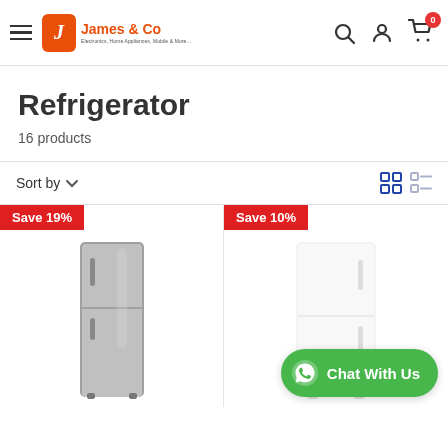James & Co — Electronics, Home Appliances, Mobile & More
Refrigerator
16 products
Sort by
[Figure (photo): Single-door silver/grey refrigerator with 'Save 19%' badge]
[Figure (photo): White refrigerator with 'Save 10%' badge, partially visible]
Chat With Us